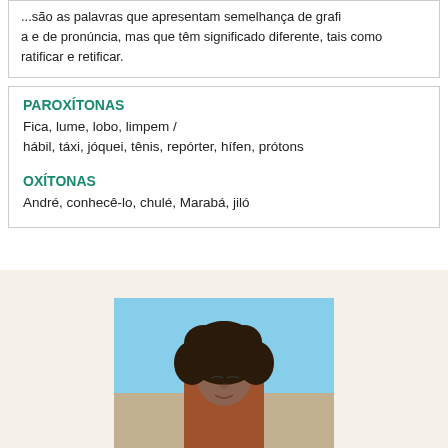...são as palavras que apresentam semelhança de grafia e de pronúncia, mas que têm significado diferente, tais como ratificar e retificar.
PAROXÍTONAS
Fica, lume, lobo, limpem /
hábil, táxi, jóquei, tênis, repórter, hífen, prótons

OXÍTONAS
André, conhecê-lo, chulé, Marabá, jiló
[Figure (photo): Photo of a young woman with curly dark hair, eyes closed, outdoors with sky in background]